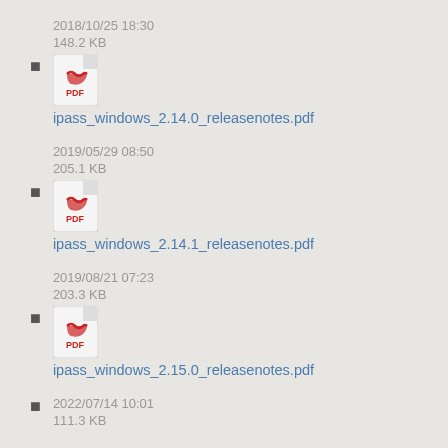2018/10/25 18:30
148.2 KB
ipass_windows_2.14.0_releasenotes.pdf
2019/05/29 08:50
205.1 KB
ipass_windows_2.14.1_releasenotes.pdf
2019/08/21 07:23
203.3 KB
ipass_windows_2.15.0_releasenotes.pdf
2022/07/14 10:01
111.3 KB